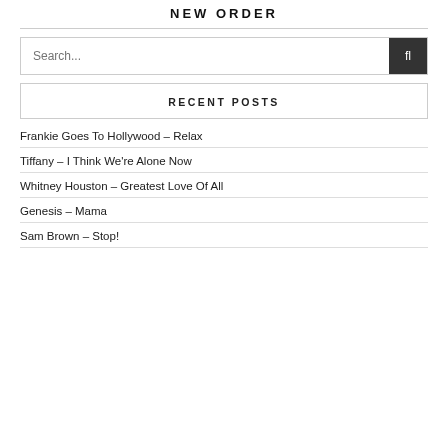NEW ORDER
Search...
RECENT POSTS
Frankie Goes To Hollywood – Relax
Tiffany – I Think We're Alone Now
Whitney Houston – Greatest Love Of All
Genesis – Mama
Sam Brown – Stop!